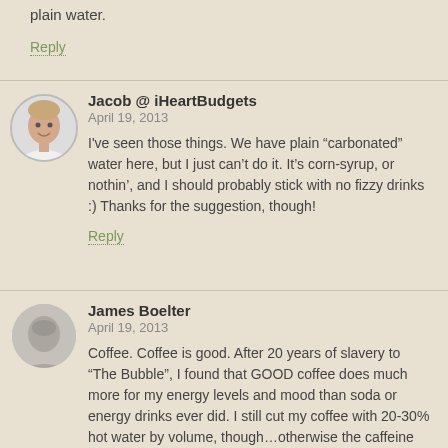plain water.
Reply
Jacob @ iHeartBudgets
April 19, 2013
I’ve seen those things. We have plain “carbonated” water here, but I just can’t do it. It’s corn-syrup, or nothin’, and I should probably stick with no fizzy drinks :) Thanks for the suggestion, though!
Reply
James Boelter
April 19, 2013
Coffee. Coffee is good. After 20 years of slavery to “The Bubble”, I found that GOOD coffee does much more for my energy levels and mood than soda or energy drinks ever did. I still cut my coffee with 20-30% hot water by volume, though…otherwise the caffeine blows off the top of my head.